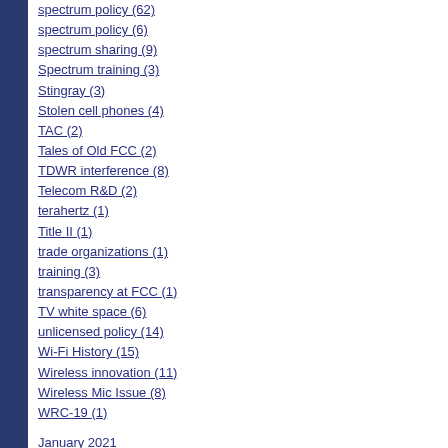spectrum policy (62)
spectrum policy (6)
spectrum sharing (9)
Spectrum training (3)
Stingray (3)
Stolen cell phones (4)
TAC (2)
Tales of Old FCC (2)
TDWR interference (8)
Telecom R&D (2)
terahertz (1)
Title II (1)
trade organizations (1)
training (3)
transparency at FCC (1)
TV white space (6)
unlicensed policy (14)
Wi-Fi History (15)
Wireless innovation (11)
Wireless Mic Issue (8)
WRC-19 (1)
January 2021
March 2018
November 2017
September 2017
August 2017
May 2017
April 2017
February 2017
December 2016
November 2016
September 2016